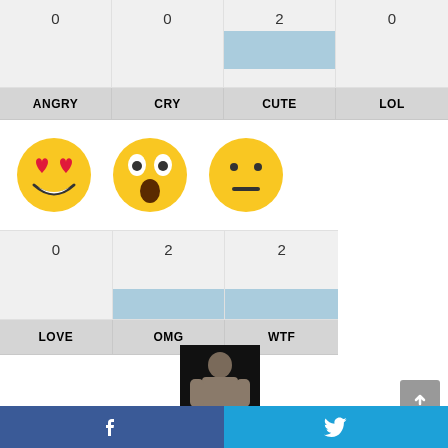| ANGRY | CRY | CUTE | LOL |
| --- | --- | --- | --- |
| 0 | 0 | 2 | 0 |
[Figure (illustration): Three emoji faces: heart-eyes (love), shocked face (OMG), neutral/deadpan face (WTF)]
| LOVE | OMG | WTF |
| --- | --- | --- |
| 0 | 2 | 2 |
[Figure (photo): Small thumbnail photo of a muscular man posing shirtless]
f  (Twitter bird icon)